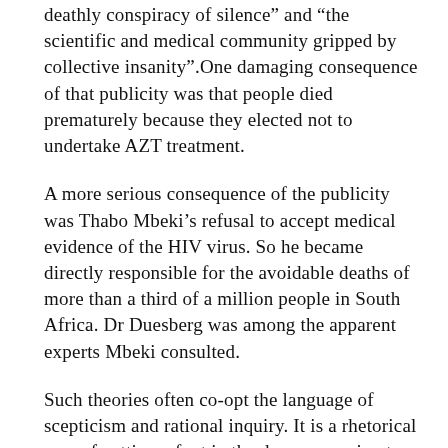deathly conspiracy of silence” and “the scientific and medical community gripped by collective insanity”.One damaging consequence of that publicity was that people died prematurely because they elected not to undertake AZT treatment.
A more serious consequence of the publicity was Thabo Mbeki’s refusal to accept medical evidence of the HIV virus. So he became directly responsible for the avoidable deaths of more than a third of a million people in South Africa. Dr Duesberg was among the apparent experts Mbeki consulted.
Such theories often co-opt the language of scepticism and rational inquiry. It is a rhetorical way of getting a foot in the door, appearing to be reasonable and asking questions. Genuine scepticism is good, but how do we differentiate it from bogus scepticism? Richard Wilson argued that genuine scepticism arrises from opinions based on the best